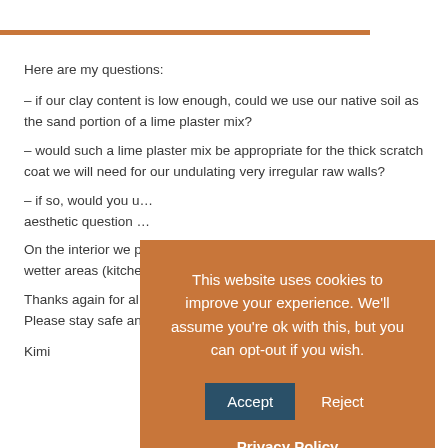Here are my questions:
– if our clay content is low enough, could we use our native soil as the sand portion of a lime plaster mix?
– would such a lime plaster mix be appropriate for the thick scratch coat we will need for our undulating very irregular raw walls?
– if so, would you u… aesthetic question …
On the interior we p… wetter areas (kitche…
Thanks again for al… Please stay safe an…
Kimi
[Figure (other): Cookie consent popup overlay with orange background. Text: 'This website uses cookies to improve your experience. We'll assume you're ok with this, but you can opt-out if you wish.' Buttons: Accept (dark teal) and Reject (white text). Privacy Policy link underlined.]